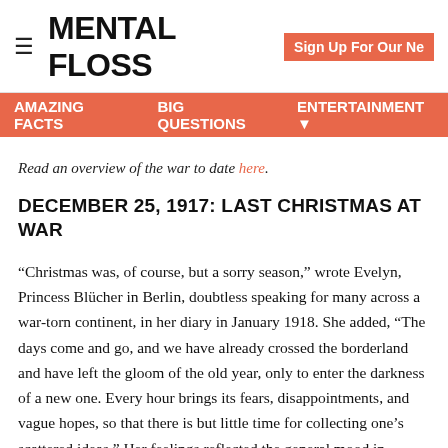MENTAL FLOSS | Sign Up For Our Ne
AMAZING FACTS  BIG QUESTIONS  ENTERTAINMENT
Read an overview of the war to date here.
DECEMBER 25, 1917: LAST CHRISTMAS AT WAR
“Christmas was, of course, but a sorry season,” wrote Evelyn, Princess Blücher in Berlin, doubtless speaking for many across a war-torn continent, in her diary in January 1918. She added, “The days come and go, and we have already crossed the borderland and have left the gloom of the old year, only to enter the darkness of a new one. Every hour brings its fears, disappointments, and vague hopes, so that there is but little time for collecting one’s scattered ideas.” Her feelings reflected the general mood in Germany, judging from the testimony of Herbert Sulzbach, a German soldier on leave in Frankfurt. “The consequences of three and a half years of war are weighing heavily on the home country, and you see a great deal